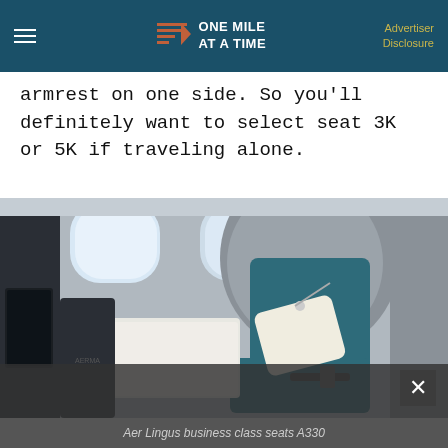ONE MILE AT A TIME | Advertiser Disclosure
armrest on one side. So you'll definitely want to select seat 3K or 5K if traveling alone.
[Figure (photo): Aer Lingus business class seat on A330, showing a teal-upholstered seat with a white pillow, privacy shell, side table, and aircraft windows in the background]
Aer Lingus business class seats A330